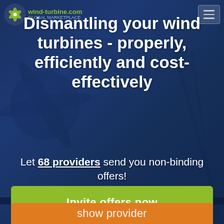[Figure (screenshot): Website screenshot of wind-turbine.com showing a hero section with a dark blue background image of wind turbine machinery.]
wind-turbine.com GLOBAL MARKETPLACE
Dismantling your wind turbines - properly, efficiently and cost-effectively
Let 68 providers send you non-binding offers!
Invite offers now
show provider